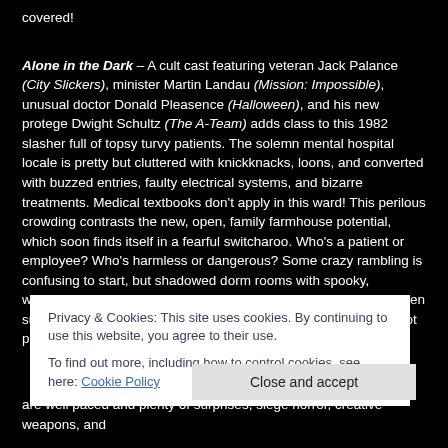covered!
Alone in the Dark – A cult cast featuring veteran Jack Palance (City Slickers), minister Martin Landau (Mission: Impossible), unusual doctor Donald Pleasence (Halloween), and his new protege Dwight Schultz (The A-Team) adds class to this 1982 slasher full of topsy turvy patients. The solemn mental hospital locale is pretty but cluttered with knickknacks, loons, and converted with buzzed entries, faulty electrical systems, and bizarre treatments. Medical textbooks don't apply in this ward! This perilous crowding contrasts the new, open, family farmhouse potential, which soon finds itself in a fearful switcharoo. Who's a patient or employee? Who's harmless or dangerous? Some crazy rambling is confusing to start, but shadowed dorm rooms with spooky, whispered plotting create a paranoid atmosphere – especially when such heavyweight gents are doing the evil planning. A touch of hot pink sideways
Privacy & Cookies: This site uses cookies. By continuing to use this website, you agree to their use.
To find out more, including how to control cookies, see here: Cookie Policy
Close and accept
are well paced and plenty of surprises, siege horror, creative weapons, and